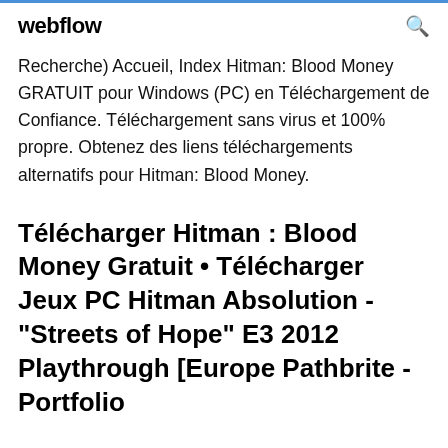webflow
Recherche) Accueil, Index Hitman: Blood Money GRATUIT pour Windows (PC) en Téléchargement de Confiance. Téléchargement sans virus et 100% propre. Obtenez des liens téléchargements alternatifs pour Hitman: Blood Money.
Télécharger Hitman : Blood Money Gratuit • Télécharger Jeux PC Hitman Absolution - "Streets of Hope" E3 2012 Playthrough [Europe Pathbrite - Portfolio